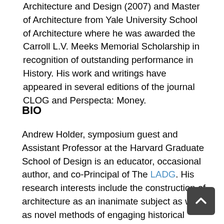Architecture and Design (2007) and Master of Architecture from Yale University School of Architecture where he was awarded the Carroll L.V. Meeks Memorial Scholarship in recognition of outstanding performance in History. His work and writings have appeared in several editions of the journal CLOG and Perspecta: Money.
BIO
Andrew Holder, symposium guest and Assistant Professor at the Harvard Graduate School of Design is an educator, occasional author, and co-Principal of The LADG. His research interests include the construction of architecture as an inanimate subject as well as novel methods of engaging historical precedent and the production of complex form in a post-digital discipline. Andrew's recent work has been published in Young Architects 16, Log, Ridgin, and Project. He is a frequent